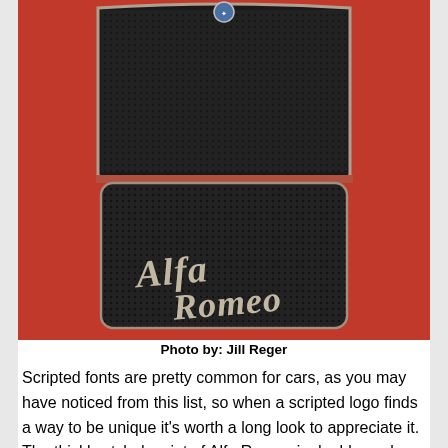[Figure (photo): Close-up photograph of an Alfa Romeo car grille from 1931, showing a dark mesh grille with the 'Alfa Romeo' script logo in silver cursive lettering on the lower portion, and the Alfa Romeo emblem badge at the top center. The grille has a distinctive arched top shape and rounded rectangular lower section, set against a red car body.]
Photo by: Jill Reger
Scripted fonts are pretty common for cars, as you may have noticed from this list, so when a scripted logo finds a way to be unique it's worth a long look to appreciate it. The thickly styled script of Alfa Romeo is doubly cool thanks to its artistically asymmetrical placement on this large 1931